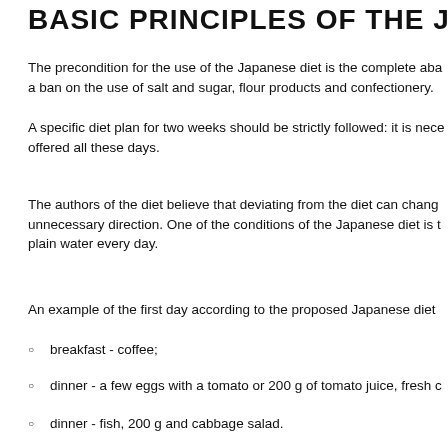BASIC PRINCIPLES OF THE JA
The precondition for the use of the Japanese diet is the complete aba a ban on the use of salt and sugar, flour products and confectionery.
A specific diet plan for two weeks should be strictly followed: it is nece offered all these days.
The authors of the diet believe that deviating from the diet can chang unnecessary direction. One of the conditions of the Japanese diet is t plain water every day.
An example of the first day according to the proposed Japanese diet
breakfast - coffee;
dinner - a few eggs with a tomato or 200 g of tomato juice, fresh c
dinner - fish, 200 g and cabbage salad.